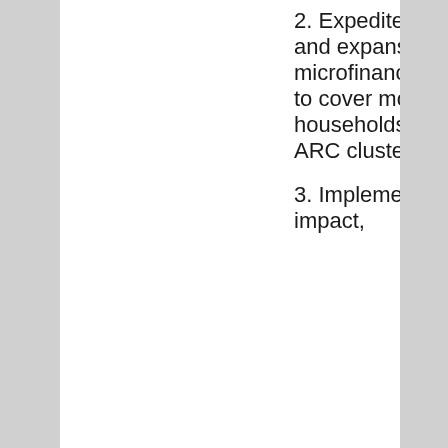2. Expedite replication and expansion of microfinance support to cover more households within the ARC clusters.
3. Implement high-impact,